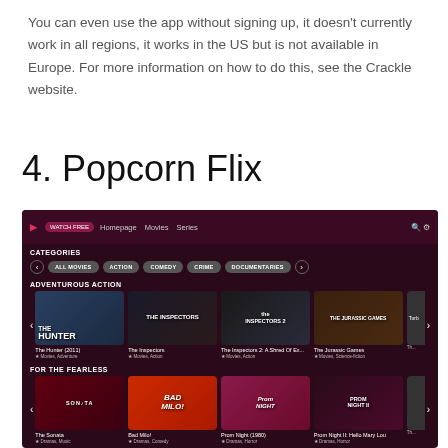You can even use the app without signing up, it doesn't currently work in all regions, it works in the US but is not available in Europe. For more information on how to do this, see the Crackle website.
4. Popcorn Flix
[Figure (screenshot): Screenshot of the Popcorn Flix website interface showing a dark purple/maroon themed streaming service homepage with navigation bar (Homepage, Movies, Series), Categories section with buttons (ALL MOVIES, ACTION, COMEDY, CRIME, DOCUMENTARIES), Adventurous Action section with movie thumbnails (The Hunter 2011, The Inspectors, The Inspectors 2: A Shred of Ex..., The Jurassic Games, Turbo...), and For the Fearless section (The Sonata, Bad Milo!, Prom Night 1980, Prom Night II: Hello Mary Lou, ...).]